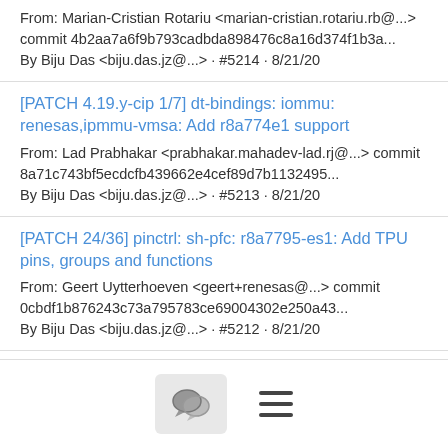From: Marian-Cristian Rotariu <marian-cristian.rotariu.rb@...> commit 4b2aa7a6f9b793cadbda898476c8a16d374f1b3a... By Biju Das <biju.das.jz@...> · #5214 · 8/21/20
[PATCH 4.19.y-cip 1/7] dt-bindings: iommu: renesas,ipmmu-vmsa: Add r8a774e1 support
From: Lad Prabhakar <prabhakar.mahadev-lad.rj@...> commit 8a71c743bf5ecdcfb439662e4cef89d7b1132495... By Biju Das <biju.das.jz@...> · #5213 · 8/21/20
[PATCH 24/36] pinctrl: sh-pfc: r8a7795-es1: Add TPU pins, groups and functions
From: Geert Uytterhoeven <geert+renesas@...> commit 0cbdf1b876243c73a795783ce69004302e250a43... By Biju Das <biju.das.jz@...> · #5212 · 8/21/20
[PATCH 36/36] arm64: dts: renesas: Add HiHope RZ/G2H sub board support
[Figure (other): Bottom navigation bar with a chat bubble icon button and a hamburger menu icon]